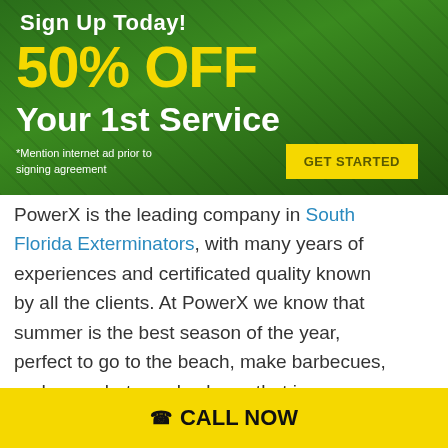[Figure (infographic): Promotional banner on green lawn background. Text reads: 'Sign Up Today! 50% OFF Your 1st Service. *Mention internet ad prior to signing agreement. GET STARTED button.']
PowerX is the leading company in South Florida Exterminators, with many years of experiences and certificated quality known by all the clients. At PowerX we know that summer is the best season of the year, perfect to go to the beach, make barbecues, and more, but we also know that is important to do a special treatment for your lawn.
CALL NOW